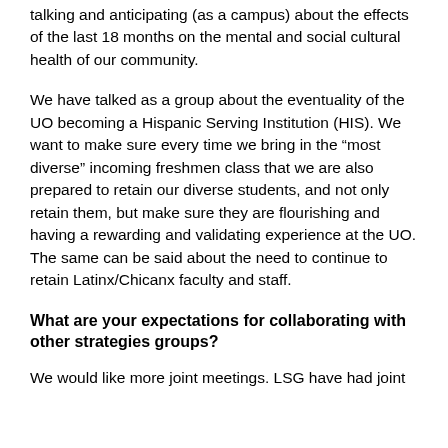adjust back to campus. We want to make sure we are talking and anticipating (as a campus) about the effects of the last 18 months on the mental and social cultural health of our community.
We have talked as a group about the eventuality of the UO becoming a Hispanic Serving Institution (HIS). We want to make sure every time we bring in the "most diverse" incoming freshmen class that we are also prepared to retain our diverse students, and not only retain them, but make sure they are flourishing and having a rewarding and validating experience at the UO. The same can be said about the need to continue to retain Latinx/Chicanx faculty and staff.
What are your expectations for collaborating with other strategies groups?
We would like more joint meetings. LSG have had joint meetings in the past with several groups and have had...